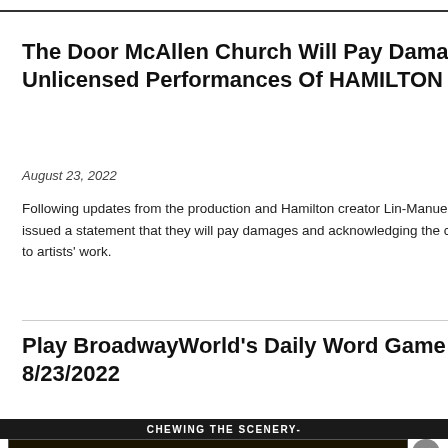The Door McAllen Church Will Pay Damages For Unlicensed Performances Of HAMILTON
August 23, 2022
[Figure (photo): Three performers on stage in colonial costumes from Hamilton the musical]
Following updates from the production and Hamilton creator Lin-Manuel Miranda, the church has now issued a statement that they will pay damages and acknowledging the copyright protections afforded to artists' work.
Play BroadwayWorld's Daily Word Game - 8/23/2022
[Figure (photo): Stage light illuminating from above against dark background]
[Figure (infographic): Advertisement for The Book of Mormon - GET 2-FOR-1 TICKETS DURING NYC BROADWAY WEEK - SEPTEMBER 6-25 USE CODE BWAYWK - GET TICKETS]